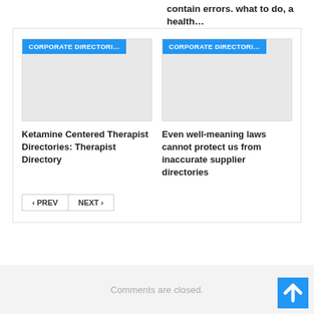contain errors. what to do, a health…
[Figure (other): Card with blue badge 'CORPORATE DIRECTORI...' and gray placeholder image]
Ketamine Centered Therapist Directories: Therapist Directory
[Figure (other): Card with blue badge 'CORPORATE DIRECTORI...' and gray placeholder image]
Even well-meaning laws cannot protect us from inaccurate supplier directories
‹ PREV
NEXT ›
Comments are closed.